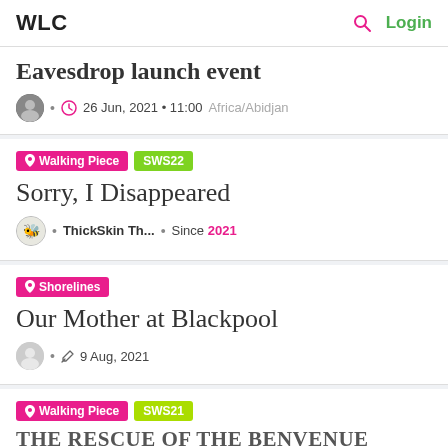WLC  🔍  Login
Eavesdrop launch event
26 Jun, 2021 • 11:00 Africa/Abidjan
Walking Piece  SWS22
Sorry, I Disappeared
ThickSkin Th... • Since 2021
Shorelines
Our Mother at Blackpool
9 Aug, 2021
Walking Piece  SWS21
THE RESCUE OF THE BENVENUE
ECHOES • Since 2021